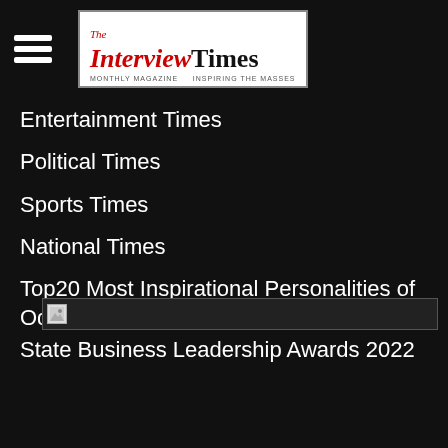The Interview Times
Entertainment Times
Political Times
Sports Times
National Times
Top20 Most Inspirational Personalities of Odisha Awards 2021
State Business Leadership Awards 2022
[Figure (photo): Broken image placeholder with border]